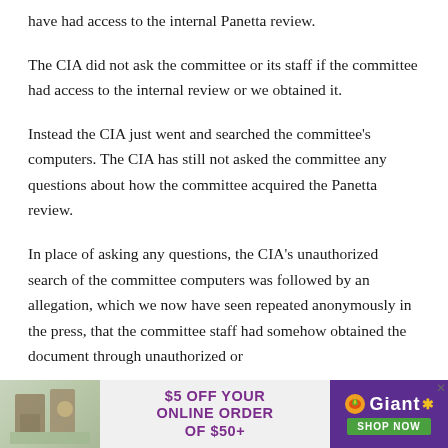have had access to the internal Panetta review.
The CIA did not ask the committee or its staff if the committee had access to the internal review or we obtained it.
Instead the CIA just went and searched the committee's computers. The CIA has still not asked the committee any questions about how the committee acquired the Panetta review.
In place of asking any questions, the CIA's unauthorized search of the committee computers was followed by an allegation, which we now have seen repeated anonymously in the press, that the committee staff had somehow obtained the document through unauthorized or
[Figure (infographic): Advertisement banner for Giant grocery store offering $5 off online order of $50+]